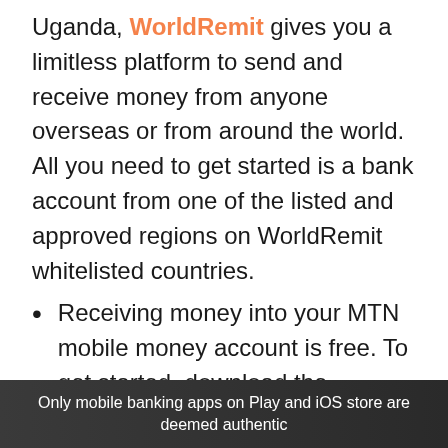Uganda, WorldRemit gives you a limitless platform to send and receive money from anyone overseas or from around the world. All you need to get started is a bank account from one of the listed and approved regions on WorldRemit whitelisted countries.
Receiving money into your MTN mobile money account is free. To get started, download the WorldRemit app from the app
Only mobile banking apps on Play and iOS store are deemed authentic